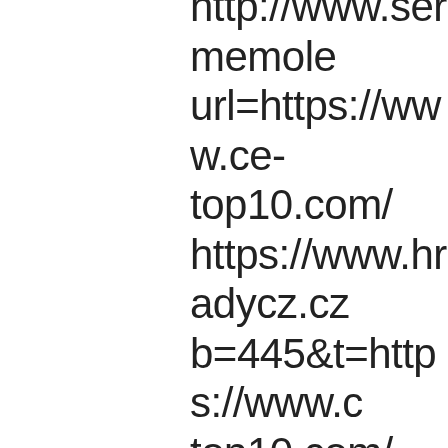http://www.sermemole... url=https://www.ce-top10.com/ https://www.hradycz.cz... b=445&t=https://www.ce-top10.com/ https://heaven.porn/te3... u=https://www.ce-top10.com/ http://park3.wakwak.co... bin/click3/click3.cgi?cnt=chalet-